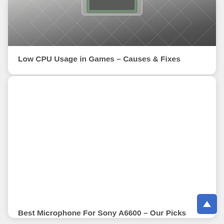[Figure (photo): Close-up photo of a CPU chip on a dark geometric patterned surface, partially cropped at top]
Low CPU Usage in Games – Causes & Fixes
[Figure (photo): White/blank image placeholder for second card article about Best Microphone For Sony A6600]
Best Microphone For Sony A6600 – Our Picks